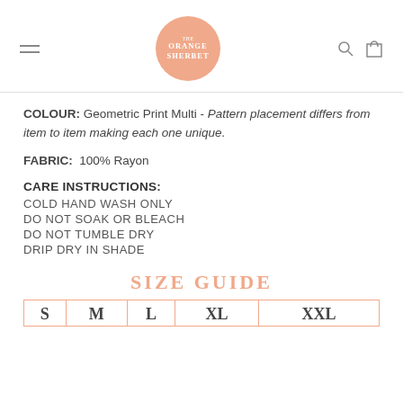Orange Sherbet logo with hamburger menu, search icon, and cart icon
COLOUR: Geometric Print Multi - Pattern placement differs from item to item making each one unique.
FABRIC: 100% Rayon
CARE INSTRUCTIONS:
COLD HAND WASH ONLY
DO NOT SOAK OR BLEACH
DO NOT TUMBLE DRY
DRIP DRY IN SHADE
SIZE GUIDE
| S | M | L | XL | XXL |
| --- | --- | --- | --- | --- |